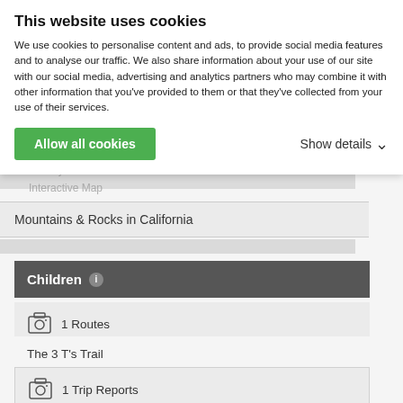This website uses cookies
We use cookies to personalise content and ads, to provide social media features and to analyse our traffic. We also share information about your use of our site with our social media, advertising and analytics partners who may combine it with other information that you've provided to them or that they've collected from your use of their services.
Allow all cookies
Show details
Geography
Nearby Mountains & Rocks
Interactive Map
Mountains & Rocks in California
Children ⓘ
1 Routes
The 3 T's Trail
1 Trip Reports
Thunder Ridge - Part 1